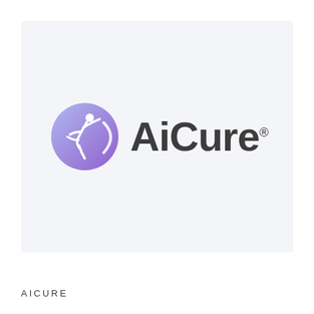[Figure (logo): AiCure company logo: a purple-to-blue gradient circle containing a white abstract human figure in motion, followed by the text 'AiCure' in dark gray bold sans-serif font with a registered trademark symbol]
AICURE